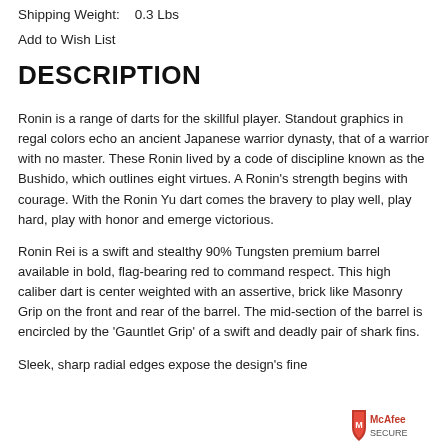Shipping Weight:    0.3 Lbs
Add to Wish List
DESCRIPTION
Ronin is a range of darts for the skillful player. Standout graphics in regal colors echo an ancient Japanese warrior dynasty, that of a warrior with no master. These Ronin lived by a code of discipline known as the Bushido, which outlines eight virtues. A Ronin's strength begins with courage. With the Ronin Yu dart comes the bravery to play well, play hard, play with honor and emerge victorious.
Ronin Rei is a swift and stealthy 90% Tungsten premium barrel available in bold, flag-bearing red to command respect. This high caliber dart is center weighted with an assertive, brick like Masonry Grip on the front and rear of the barrel. The mid-section of the barrel is encircled by the 'Gauntlet Grip' of a swift and deadly pair of shark fins.
Sleek, sharp radial edges expose the design's fine...
[Figure (logo): McAfee Secure badge logo in bottom right corner]